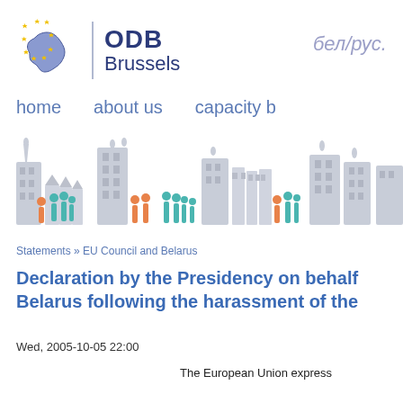[Figure (logo): ODB Brussels logo with Belarus map silhouette surrounded by EU stars, vertical divider, text ODB Brussels]
бел/рус.
home   about us   capacity b
[Figure (illustration): City skyline illustration with grey buildings and teal/orange human figures]
Statements » EU Council and Belarus
Declaration by the Presidency on behalf of Belarus following the harassment of the
Wed, 2005-10-05 22:00
The European Union express